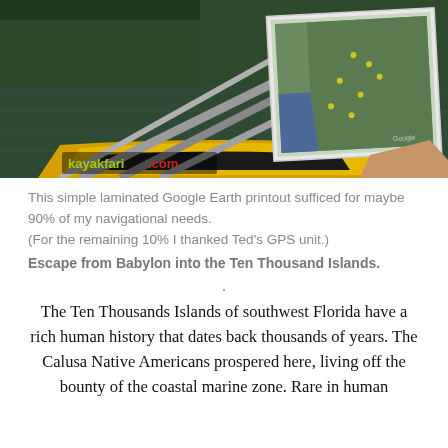[Figure (photo): View from inside a yellow kayak on calm dark water, showing kayak paddles in foreground. A person's hand holds up a laminated Google Earth satellite map printout showing the coastline of southwest Florida and the Ten Thousand Islands area. The watermark 'kayakfari.com' appears in yellow-green and red text at the bottom left of the photo.]
This simple laminated Google Earth printout sufficed for maybe 90% of my navigational needs.
(For the remaining 10% I thanked Ted's GPS unit.)
Escape from Babylon into the Ten Thousand Islands.
.
The Ten Thousands Islands of southwest Florida have a rich human history that dates back thousands of years. The Calusa Native Americans prospered here, living off the bounty of the coastal marine zone. Rare in human